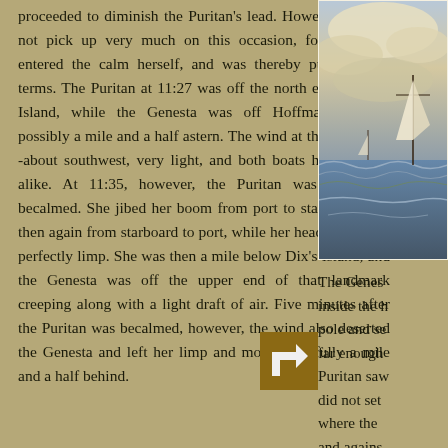proceeded to diminish the Puritan's lead. However she did not pick up very much on this occasion, for she soon entered the calm herself, and was thereby put on even terms. The Puritan at 11:27 was off the north end of Dix's Island, while the Genesta was off Hoffman's Island, possibly a mile and a half astern. The wind at that time was -about southwest, very light, and both boats had it about alike. At 11:35, however, the Puritan was altogether becalmed. She jibed her boom from port to starboard, and then again from starboard to port, while her head sails hung perfectly limp. She was then a mile below Dix's Island, and the Genesta was off the upper end of that landmark creeping along with a light draft of air. Five minutes after the Puritan was becalmed, however, the wind also deserted the Genesta and left her limp and motionless fully a mile and a half behind.
[Figure (photo): A painting or photograph of sailing vessels on choppy water with dramatic cloudy sky.]
The Genesta inside the h pole and se far enough Puritan saw did not set where the and agains slow. The P run up, anc
[Figure (other): Navigation arrow icon pointing upward-right on a brown/tan square background.]